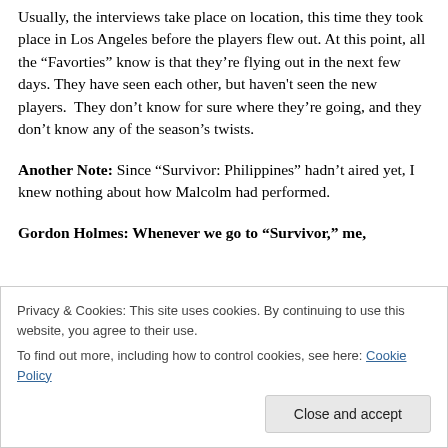Usually, the interviews take place on location, this time they took place in Los Angeles before the players flew out. At this point, all the “Favorties” know is that they’re flying out in the next few days. They have seen each other, but haven't seen the new players.  They don’t know for sure where they’re going, and they don’t know any of the season’s twists.
Another Note: Since “Survivor: Philippines” hadn’t aired yet, I knew nothing about how Malcolm had performed.
Gordon Holmes: Whenever we go to “Survivor,” me,
Privacy & Cookies: This site uses cookies. By continuing to use this website, you agree to their use.
To find out more, including how to control cookies, see here: Cookie Policy